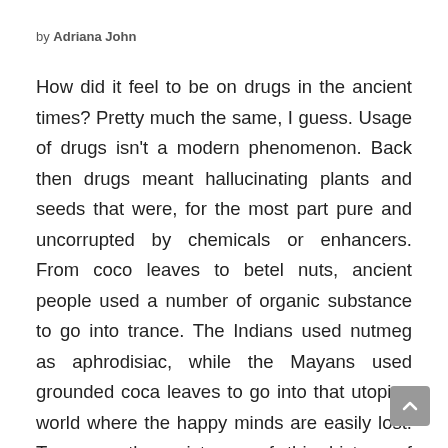by Adriana John
How did it feel to be on drugs in the ancient times? Pretty much the same, I guess. Usage of drugs isn't a modern phenomenon. Back then drugs meant hallucinating plants and seeds that were, for the most part pure and uncorrupted by chemicals or enhancers. From coco leaves to betel nuts, ancient people used a number of organic substance to go into trance. The Indians used nutmeg as aphrodisiac, while the Mayans used grounded coca leaves to go into that utopian world where the happy minds are easily lost. To prove the existence of this history of intoxication, here are 10 drugs used in ancient civilizations: